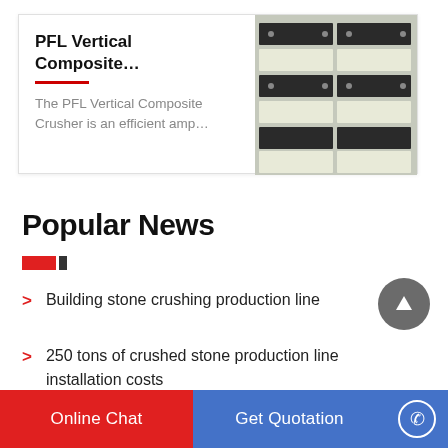PFL Vertical Composite…
The PFL Vertical Composite Crusher is an efficient amp…
[Figure (photo): Stacked industrial crusher or screen panels in black and white/grey colors, viewed from outside.]
Popular News
Building stone crushing production line
250 tons of crushed stone production line installation costs
How much is the price of a 5,000-ton stone crusher per day
Online Chat
Get Quotation